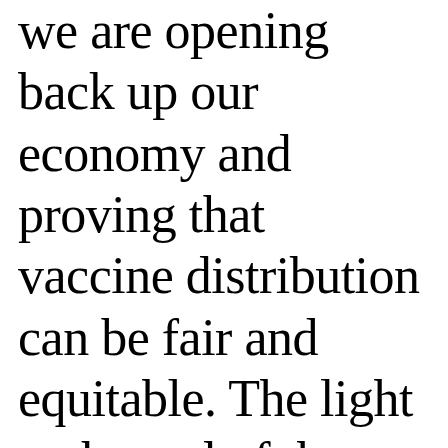we are opening back up our economy and proving that vaccine distribution can be fair and equitable. The light at the end of the tunnel is